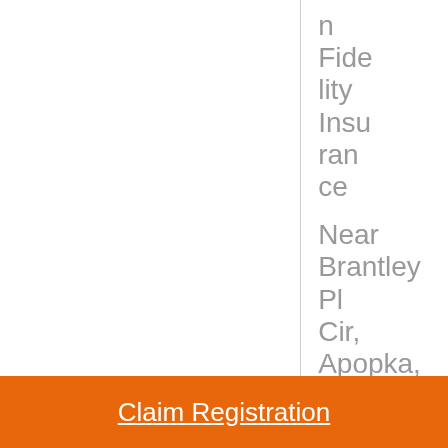n Fidelity Insurance
Near Brantley Pl Cir, Apopka, FL 32703
Claim Registration